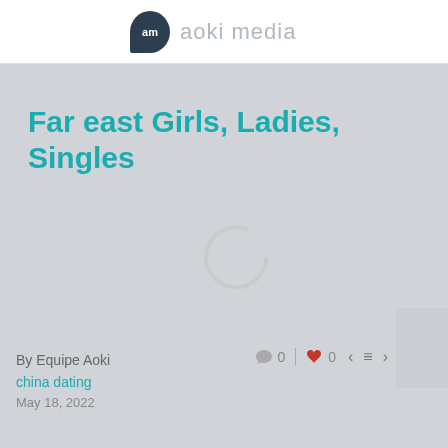am aoki media
Far east Girls, Ladies, Singles
[Figure (illustration): Loading spinner / circular arc indicator on grey background]
By Equipe Aoki
china dating
May 18, 2022
0  0